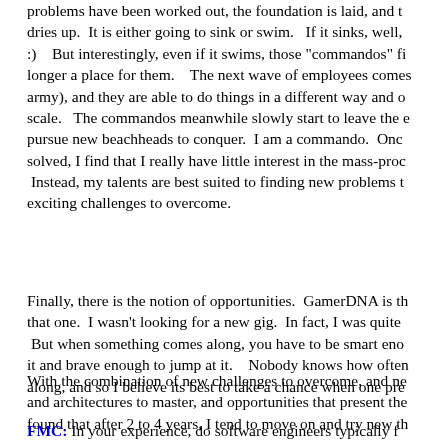problems have been worked out, the foundation is laid, and t dries up. It is either going to sink or swim. If it sinks, well, :) But interestingly, even if it swims, those "commandos" fi longer a place for them. The next wave of employees comes army), and they are able to do things in a different way and o scale. The commandos meanwhile slowly start to leave the e pursue new beachheads to conquer. I am a commando. Onc solved, I find that I really have little interest in the mass-proc Instead, my talents are best suited to finding new problems t exciting challenges to overcome.
Finally, there is the notion of opportunities. GamerDNA is th that one. I wasn't looking for a new gig. In fact, I was quite But when something comes along, you have to be smart eno it and brave enough to jump at it. Nobody knows how often along, and so I believe its best to take a chance when one pre
With the combination of new challenges to overcome, and ne and architectures to master, and opportunities that present the found that after 2 to 4 years, I tend to move on and try new th
FMC: In your experience, do software engineers typically f